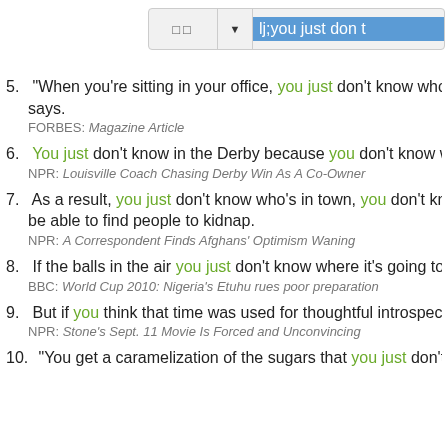[Figure (screenshot): Search bar UI with icon buttons and highlighted text 'lj;you just don t']
5. "When you're sitting in your office, you just don't know who you're co... says. | FORBES: Magazine Article
6. You just don't know in the Derby because you don't know who's going... | NPR: Louisville Coach Chasing Derby Win As A Co-Owner
7. As a result, you just don't know who's in town, you don't know who's a... be able to find people to kidnap. | NPR: A Correspondent Finds Afghans' Optimism Waning
8. If the balls in the air you just don't know where it's going to go. | BBC: World Cup 2010: Nigeria's Etuhu rues poor preparation
9. But if you think that time was used for thoughtful introspection, you ju... | NPR: Stone's Sept. 11 Movie Is Forced and Unconvincing
10. "You get a caramelization of the sugars that you just don't get when b...